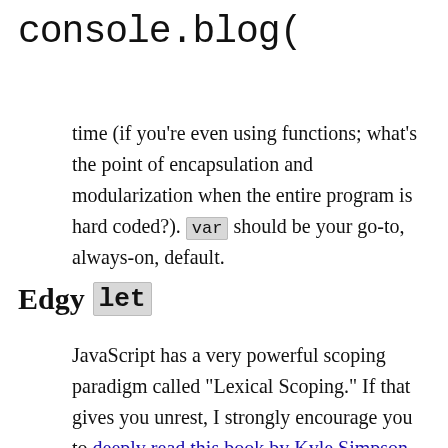console.blog(
time (if you're even using functions; what's the point of encapsulation and modularization when the entire program is hard coded?). var should be your go-to, always-on, default.
Edgy let
JavaScript has a very powerful scoping paradigm called "Lexical Scoping." If that gives you unrest, I strongly encourage you to deeply read this book by Kyle Simpson.